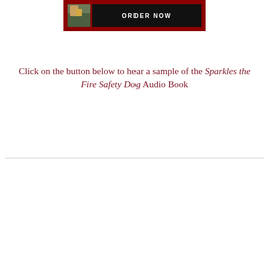[Figure (illustration): A button/banner image with a dark red border, a small photo on the left, and a black area with 'Order Now' text on the right]
Click on the button below to hear a sample of the Sparkles the Fire Safety Dog Audio Book